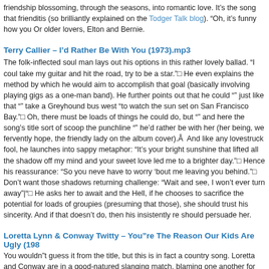friendship blossoming, through the seasons, into romantic love. It’s the song that frienditis (so brilliantly explained on the Todger Talk blog). “Oh, it’s funny how you Or older lovers, Elton and Bernie.
Terry Callier – I’d Rather Be With You (1973).mp3
The folk-inflected soul man lays out his options in this rather lovely ballad. “I coul take my guitar and hit the road, try to be a star.” He even explains the method by which he would aim to accomplish that goal (basically involving playing gigs as a one-man band). He further points out that he could “” just like that “” take a Greyhound bus west “to watch the sun set on San Francisco Bay.” Oh, there must be loads of things he could do, but “” and here the song’s title sort of scoop the punchline “” he’d rather be with her (her being, we fervently hope, the friendly lady on the album cover).Â And like any lovestruck fool, he launches into sappy metaphor: “It’s your bright sunshine that lifted all the shadow off my mind and your sweet love led me to a brighter day.” Hence his reassurance: “So you neve have to worry ‘bout me leaving you behind.” Don’t want those shadows returning challenge: “Wait and see, I won’t ever turn away”|” He asks her to await and the Hell, if he chooses to sacrifice the potential for loads of groupies (presuming that those), she should trust his sincerity. And if that doesn’t do, then his insistently re should persuade her.
Loretta Lynn & Conway Twitty – You”re The Reason Our Kids Are Ugly (198
You wouldn”t guess it from the title, but this is in fact a country song. Loretta and Conway are in a good-natured slanging match, blaming one another for their